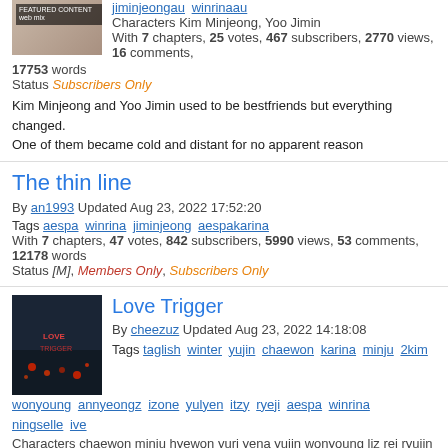jiminjeongau winrinaau
Characters Kim Minjeong, Yoo Jimin
With 7 chapters, 25 votes, 467 subscribers, 2770 views, 16 comments, 17753 words
Status Subscribers Only
Kim Minjeong and Yoo Jimin used to be bestfriends but everything changed. One of them became cold and distant for no apparent reason
The thin line
By an1993 Updated Aug 23, 2022 17:52:20
Tags aespa winrina jiminjeong aespakarina
With 7 chapters, 47 votes, 842 subscribers, 5990 views, 53 comments, 12178 words
Status [M], Members Only, Subscribers Only
Love Trigger
By cheezuz Updated Aug 23, 2022 14:18:08
Tags taglish winter yujin chaewon karina minju 2kim wonyoung annyeongz izone yulyen itzy ryeji aespa winrina ningselle ive
Characters chaewon minju hyewon yuri yena yujin wonyoung liz rei ryujin winter karina yeji eunbi
With 9 chapters, 5 votes, 72 subscribers, 1290 views, 8 comments, 51682 words